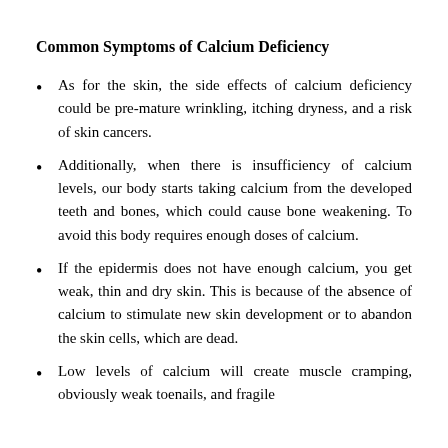Common Symptoms of Calcium Deficiency
As for the skin, the side effects of calcium deficiency could be pre-mature wrinkling, itching dryness, and a risk of skin cancers.
Additionally, when there is insufficiency of calcium levels, our body starts taking calcium from the developed teeth and bones, which could cause bone weakening. To avoid this body requires enough doses of calcium.
If the epidermis does not have enough calcium, you get weak, thin and dry skin. This is because of the absence of calcium to stimulate new skin development or to abandon the skin cells, which are dead.
Low levels of calcium will create muscle cramping, obviously weak toenails, and fragile